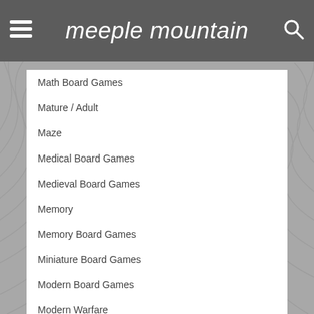meeple mountain
Math Board Games
Mature / Adult
Maze
Medical Board Games
Medieval Board Games
Memory
Memory Board Games
Miniature Board Games
Modern Board Games
Modern Warfare
Murder / Mystery Board Games
Murder/Mystery
Music Board Games
Mythology Board Games